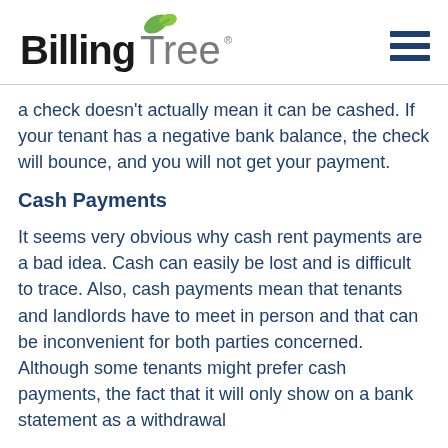BillingTree
a check doesn't actually mean it can be cashed. If your tenant has a negative bank balance, the check will bounce, and you will not get your payment.
Cash Payments
It seems very obvious why cash rent payments are a bad idea. Cash can easily be lost and is difficult to trace. Also, cash payments mean that tenants and landlords have to meet in person and that can be inconvenient for both parties concerned. Although some tenants might prefer cash payments, the fact that it will only show on a bank statement as a withdrawal